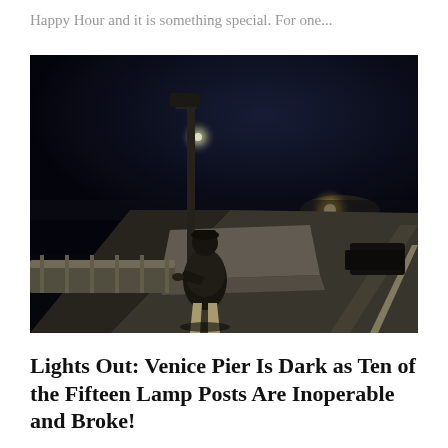Happy Hour and it is something special. For one...
[Figure (photo): A person standing on the dark Venice Pier at night, next to a lamp post that is not lit. The pier roadway is visible stretching into the distance with a bright light far in the background. The sky is deep dark blue-black with a faint light near the top of the lamp post.]
Lights Out: Venice Pier Is Dark as Ten of the Fifteen Lamp Posts Are Inoperable and Broke!